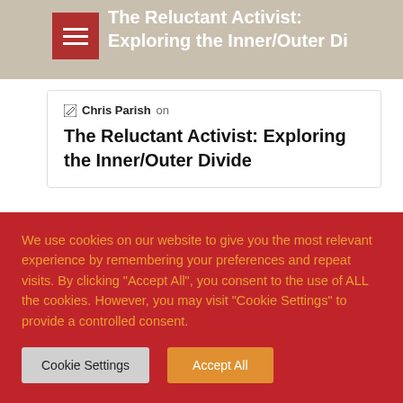The Reluctant Activist: Exploring the Inner/Outer Divide
Chris Parish on
The Reluctant Activist: Exploring the Inner/Outer Divide
Categories
Spirituality
Psychedelics
We use cookies on our website to give you the most relevant experience by remembering your preferences and repeat visits. By clicking "Accept All", you consent to the use of ALL the cookies. However, you may visit "Cookie Settings" to provide a controlled consent.
Cookie Settings
Accept All